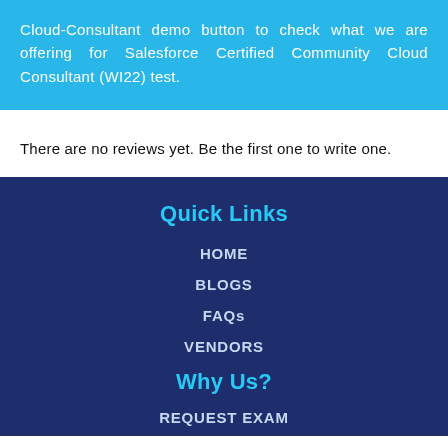Cloud-Consultant demo button to check what we are offering for Salesforce Certified Community Cloud Consultant (WI22) test.
There are no reviews yet. Be the first one to write one.
Quick Links
HOME
BLOGS
FAQs
VENDORS
Why Us?
REQUEST EXAM